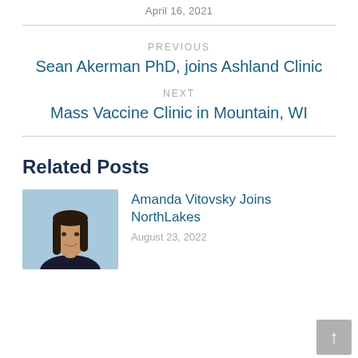April 16, 2021
PREVIOUS
Sean Akerman PhD, joins Ashland Clinic
NEXT
Mass Vaccine Clinic in Mountain, WI
Related Posts
[Figure (photo): Headshot of Amanda Vitovsky, a woman with long dark hair, smiling, in front of a light blue background]
Amanda Vitovsky Joins NorthLakes
August 23, 2022